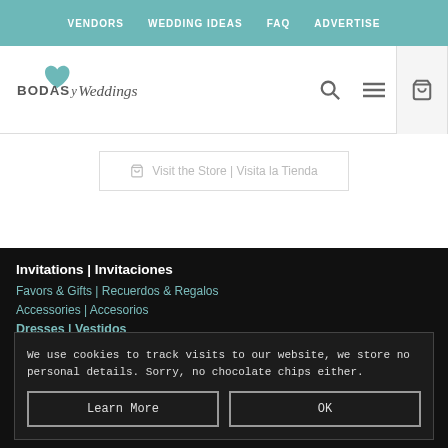VENDORS | WEDDING IDEAS | FAQ | ADVERTISE
[Figure (logo): Bodas y Weddings logo with teal heart]
Visit the Store | Visita la Tienda
Invitations | Invitaciones
Favors & Gifts | Recuerdos & Regalos
Accessories | Accesorios
Dresses | Vestidos
Wedding Decor & Centerpieces | Centros de Mesa y
We use cookies to track visits to our website, we store no personal details. Sorry, no chocolate chips either.
Learn More   OK